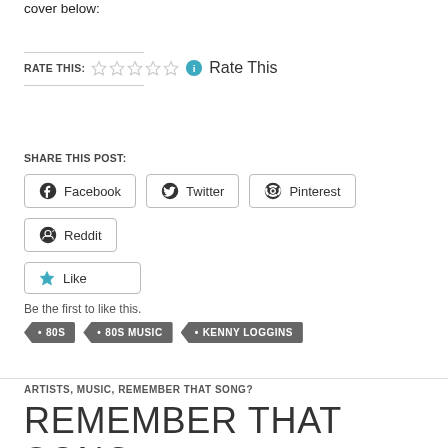cover below:
RATE THIS: Rate This
SHARE THIS POST:
Facebook   Twitter   Pinterest   Reddit
Like
Be the first to like this.
80S
80S MUSIC
KENNY LOGGINS
ARTISTS, MUSIC, REMEMBER THAT SONG?
REMEMBER THAT SONG –